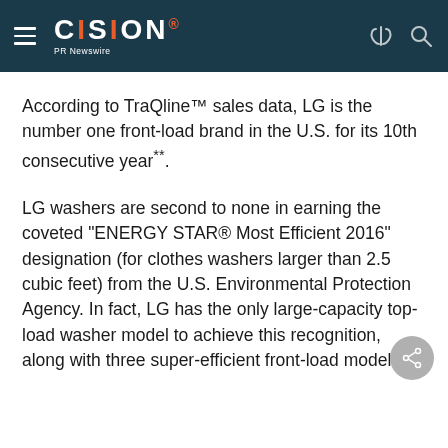CISION PR Newswire
According to TraQline™ sales data, LG is the number one front-load brand in the U.S. for its 10th consecutive year**.
LG washers are second to none in earning the coveted "ENERGY STAR® Most Efficient 2016" designation (for clothes washers larger than 2.5 cubic feet) from the U.S. Environmental Protection Agency. In fact, LG has the only large-capacity top-load washer model to achieve this recognition, along with three super-efficient front-load models.